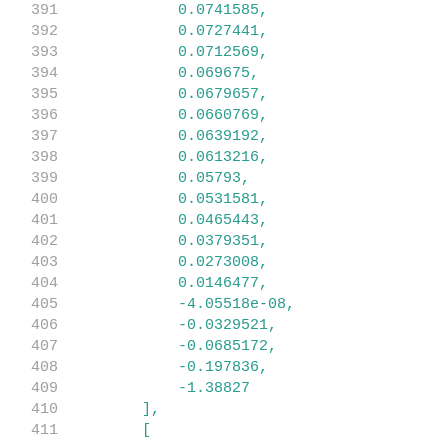391    0.0741585,
392    0.0727441,
393    0.0712569,
394    0.069675,
395    0.0679657,
396    0.0660769,
397    0.0639192,
398    0.0613216,
399    0.05793,
400    0.0531581,
401    0.0465443,
402    0.0379351,
403    0.0273008,
404    0.0146477,
405    -4.05518e-08,
406    -0.0329521,
407    -0.0685172,
408    -0.197836,
409    -1.38827
410    ],
411    [